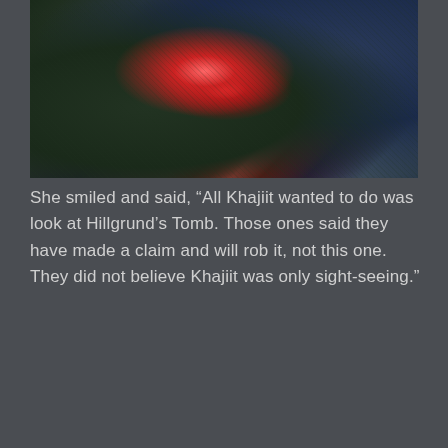[Figure (screenshot): A dark, atmospheric screenshot from a video game (Skyrim) showing a glowing magical effect or fire with red/orange light in a dark forested or cave-like environment. The scene is dimly lit with blue-grey tones in the background.]
She smiled and said, “All Khajiit wanted to do was look at Hillgrund’s Tomb. Those ones said they have made a claim and will rob it, not this one. They did not believe Khajiit was only sight-seeing.”